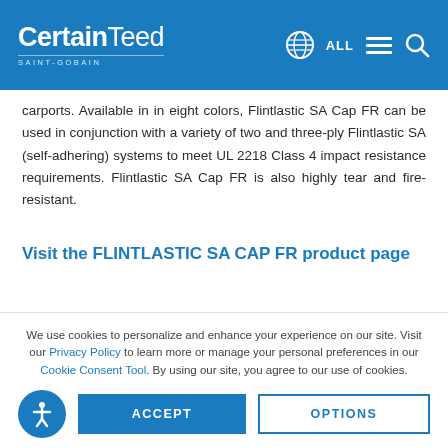CertainTeed SAINT-GOBAIN — Navigation header with globe icon, ALL, menu, search
carports. Available in in eight colors, Flintlastic SA Cap FR can be used in conjunction with a variety of two and three-ply Flintlastic SA (self-adhering) systems to meet UL 2218 Class 4 impact resistance requirements. Flintlastic SA Cap FR is also highly tear and fire-resistant.
Visit the FLINTLASTIC SA CAP FR product page
We use cookies to personalize and enhance your experience on our site. Visit our Privacy Policy to learn more or manage your personal preferences in our Cookie Consent Tool. By using our site, you agree to our use of cookies.